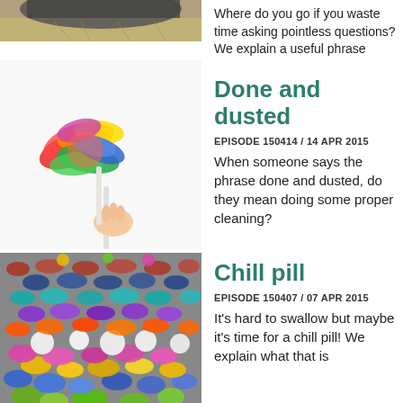[Figure (photo): Animal photo (partial, cropped at top)]
Where do you go if you waste time asking pointless questions? We explain a useful phrase
[Figure (photo): Hand holding a colorful rainbow feather duster]
Done and dusted
EPISODE 150414 / 14 APR 2015
When someone says the phrase done and dusted, do they mean doing some proper cleaning?
[Figure (photo): Pile of colorful mixed pills and capsules]
Chill pill
EPISODE 150407 / 07 APR 2015
It's hard to swallow but maybe it's time for a chill pill! We explain what that is